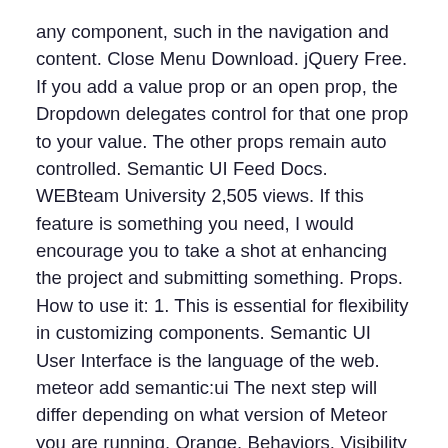any component, such in the navigation and content. Close Menu Download. jQuery Free. If you add a value prop or an open prop, the Dropdown delegates control for that one prop to your value. The other props remain auto controlled. Semantic UI Feed Docs. WEBteam University 2,505 views. If this feature is something you need, I would encourage you to take a shot at enhancing the project and submitting something. Props. How to use it: 1. This is essential for flexibility in customizing components. Semantic UI User Interface is the language of the web. meteor add semantic:ui The next step will differ depending on what version of Meteor you are running. Orange. Behaviors. Visibility . Based on project statistics from the GitHub repository for the npm package @types/semantic-ui-accordion, we found that it has been starred ? In semantic_ui-react library exists component Accordion. By default, we assign role="region" and to each AccordionPanel, along with